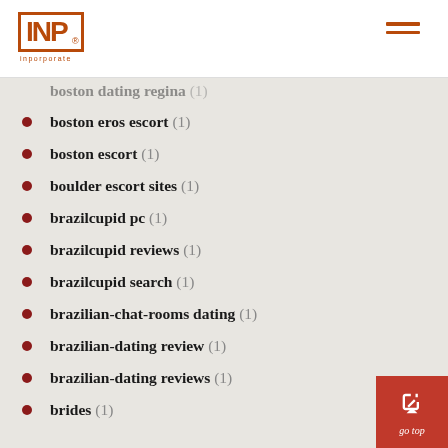INP logo and hamburger menu
boston dating regina (1)
boston eros escort (1)
boston escort (1)
boulder escort sites (1)
brazilcupid pc (1)
brazilcupid reviews (1)
brazilcupid search (1)
brazilian-chat-rooms dating (1)
brazilian-dating review (1)
brazilian-dating reviews (1)
brides (1)